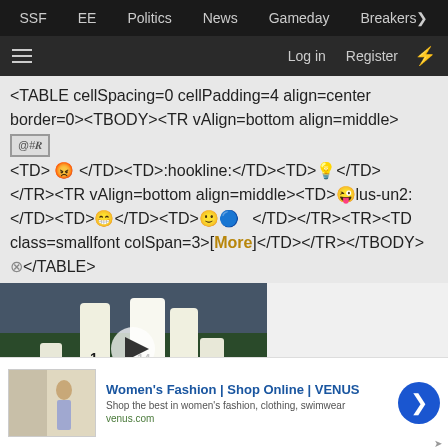SSF  EE  Politics  News  Gameday  Breakers>
≡  Log in  Register  ⚡
<TABLE cellSpacing=0 cellPadding=4 align=center border=0><TBODY><TR vAlign=bottom align=middle>
<TD> 😡 </TD><TD>:hookline:</TD><TD>💡</TD></TR><TR vAlign=bottom align=middle><TD>😜lus-un2:</TD><TD>😁</TD><TD>🙂🔵 </TD></TR><TR><TD class=smallfont colSpan=3>[More]</TD></TR></TBODY></TABLE>
[Figure (screenshot): Football players in white uniforms on a stadium field, with a video play button overlay. Partial overlay text reads 'content, tailor your experience an']
[Figure (infographic): Advertisement banner: Women's Fashion | Shop Online | VENUS. Shop the best in women's fashion, clothing, swimwear. venus.com. Blue circular CTA button with right arrow.]